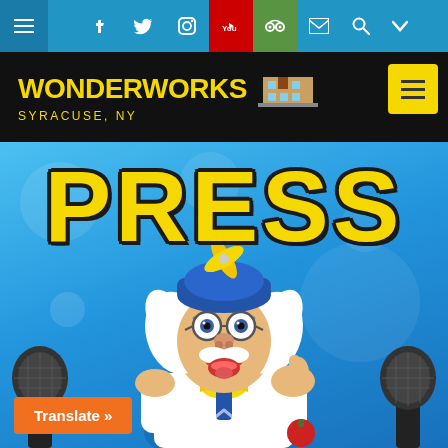[Figure (screenshot): WonderWorks Syracuse NY website screenshot showing navigation bar with social media icons, black logo bar with yellow WonderWorks Syracuse NY text, and a blue hero section with large yellow PRESS text and cartoon scientist character with microphones and Translate button]
WonderWorks Syracuse, NY
PRESS
Translate »